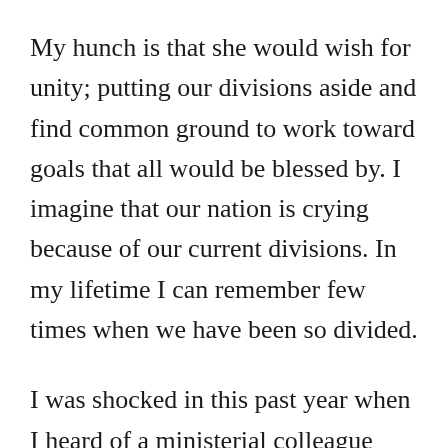My hunch is that she would wish for unity; putting our divisions aside and find common ground to work toward goals that all would be blessed by. I imagine that our nation is crying because of our current divisions. In my lifetime I can remember few times when we have been so divided.
I was shocked in this past year when I heard of a ministerial colleague who